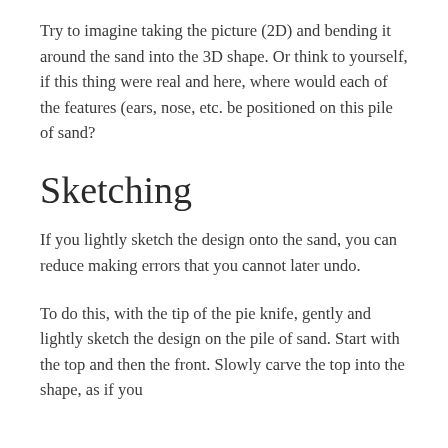Try to imagine taking the picture (2D) and bending it around the sand into the 3D shape. Or think to yourself, if this thing were real and here, where would each of the features (ears, nose, etc. be positioned on this pile of sand?
Sketching
If you lightly sketch the design onto the sand, you can reduce making errors that you cannot later undo.
To do this, with the tip of the pie knife, gently and lightly sketch the design on the pile of sand. Start with the top and then the front. Slowly carve the top into the shape, as if you